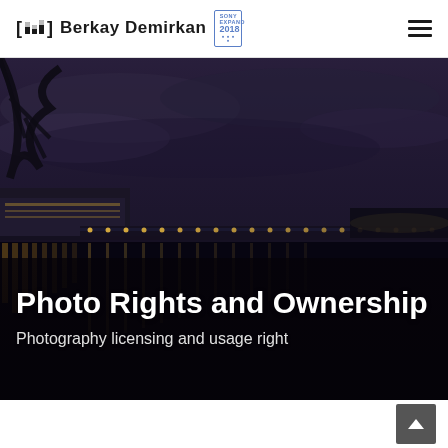[ bd ] Berkay Demirkan  [SONY EXPAND 2018]
[Figure (photo): Night cityscape photo showing a river with reflections of city lights, a large building on the left (Kennedy Center), and a bridge with lights stretching across the water. Dark stormy sky overhead.]
Photo Rights and Ownership
Photography licensing and usage right